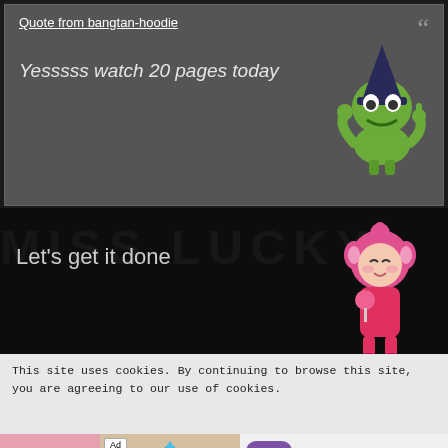Quote from bangtan-hoodie
Yesssss watch 20 pages today
[Figure (illustration): Pepe the frog meme sticker with wizard hat, giving a thumbs up]
Let's get it done
[Figure (illustration): Pink cartoon cat character sticker]
[Figure (photo): Partial photo of a person with dark hair, showing top of head and eyes]
This site uses cookies. By continuing to browse this site, you are agreeing to our use of cookies.
Ad They Are Coming! Download